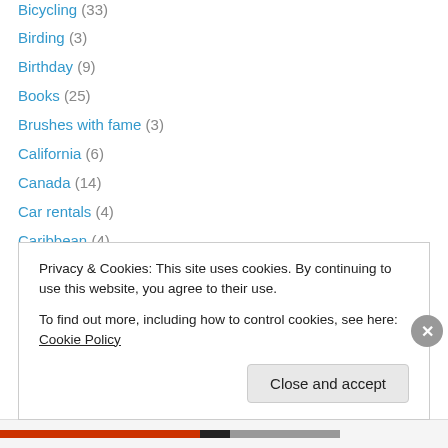Bicycling (33)
Birding (3)
Birthday (9)
Books (25)
Brushes with fame (3)
California (6)
Canada (14)
Car rentals (4)
Caribbean (4)
Central America (1)
Chile (2)
China (1)
Civil rights (3)
Colorado (4)
Privacy & Cookies: This site uses cookies. By continuing to use this website, you agree to their use. To find out more, including how to control cookies, see here: Cookie Policy